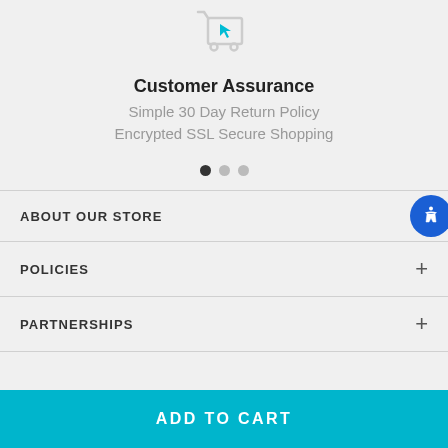[Figure (illustration): Shopping cart icon with a arrow/cursor indicator, teal/cyan colored]
Customer Assurance
Simple 30 Day Return Policy
Encrypted SSL Secure Shopping
[Figure (other): Three pagination dots: first filled dark, second and third light gray]
ABOUT OUR STORE
POLICIES
PARTNERSHIPS
ADD TO CART